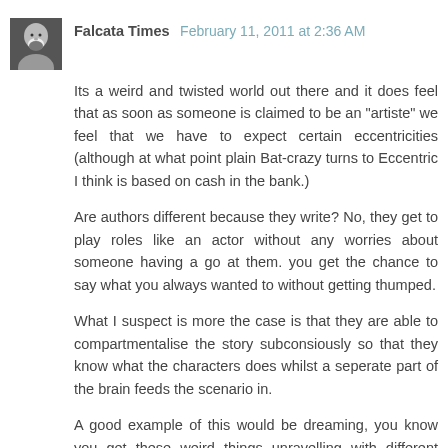Falcata Times  February 11, 2011 at 2:36 AM
Its a weird and twisted world out there and it does feel that as soon as someone is claimed to be an "artiste" we feel that we have to expect certain eccentricities (although at what point plain Bat-crazy turns to Eccentric I think is based on cash in the bank.)
Are authors different because they write? No, they get to play roles like an actor without any worries about someone having a go at them. you get the chance to say what you always wanted to without getting thumped.
What I suspect is more the case is that they are able to compartmentalise the story subconsiously so that they know what the characters does whilst a seperate part of the brain feeds the scenario in.
A good example of this would be dreaming, you know you get these weird things unravelling with different people there and yet the sequence then pretty much writes itself. Any writer has the ability to remember some of these or finds a way to tap into it whilst waking.